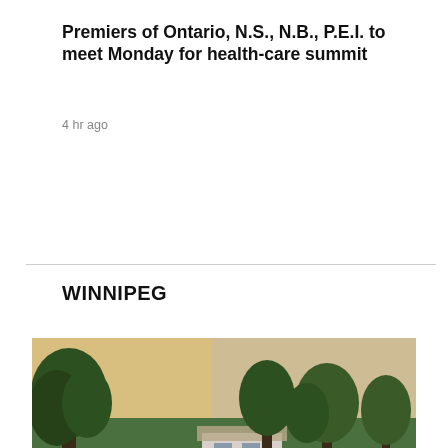Premiers of Ontario, N.S., N.B., P.E.I. to meet Monday for health-care summit
4 hr ago
WINNIPEG
[Figure (photo): A street scene with police tape reading 'FIRE LINE DO NOT CROSS' stretched across a road, with a crashed vehicle visible near some trees and a white house in the background, taken at dusk or dawn with green trees lining the street.]
Winnipeg...